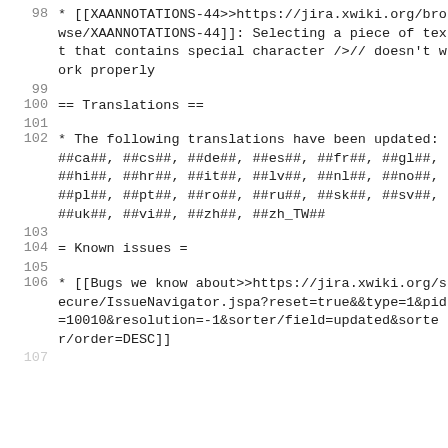98  * [[XAANNOTATIONS-44>>https://jira.xwiki.org/browse/XAANNOTATIONS-44]]: Selecting a piece of text that contains special character //>// doesn't work properly
100  == Translations ==
102  * The following translations have been updated: ##ca##, ##cs##, ##de##, ##es##, ##fr##, ##gl##, ##hi##, ##hr##, ##it##, ##lv##, ##nl##, ##no##, ##pl##, ##pt##, ##ro##, ##ru##, ##sk##, ##sv##, ##uk##, ##vi##, ##zh##, ##zh_TW##
104  = Known issues =
106  * [[Bugs we know about>>https://jira.xwiki.org/secure/IssueNavigator.jspa?reset=true&&type=1&pid=10010&resolution=-1&sorter/field=updated&sorter/order=DESC]]